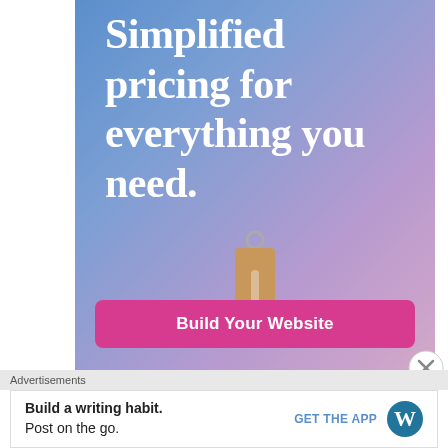[Figure (illustration): Advertisement banner with blue-to-purple gradient background, large white serif text reading 'Simplified pricing for everything you need.' with a price tag illustration and a pink 'Build Your Website' button.]
Advertisements
Build a writing habit. Post on the go.
GET THE APP